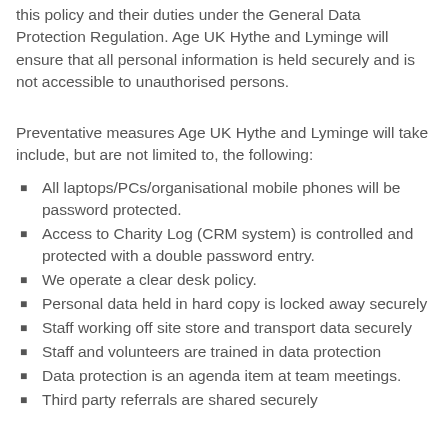this policy and their duties under the General Data Protection Regulation. Age UK Hythe and Lyminge will ensure that all personal information is held securely and is not accessible to unauthorised persons.
Preventative measures Age UK Hythe and Lyminge will take include, but are not limited to, the following:
All laptops/PCs/organisational mobile phones will be password protected.
Access to Charity Log (CRM system) is controlled and protected with a double password entry.
We operate a clear desk policy.
Personal data held in hard copy is locked away securely
Staff working off site store and transport data securely
Staff and volunteers are trained in data protection
Data protection is an agenda item at team meetings.
Third party referrals are shared securely